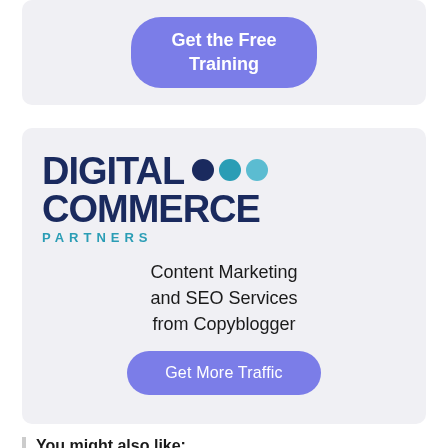[Figure (other): A rounded card with a purple button labeled 'Get the Free Training']
[Figure (logo): Digital Commerce Partners logo with dark blue bold text and three colored circles (dark blue, teal, light teal), subtitle 'PARTNERS' in teal spaced letters]
Content Marketing and SEO Services from Copyplogger
Get More Traffic
You might also like: